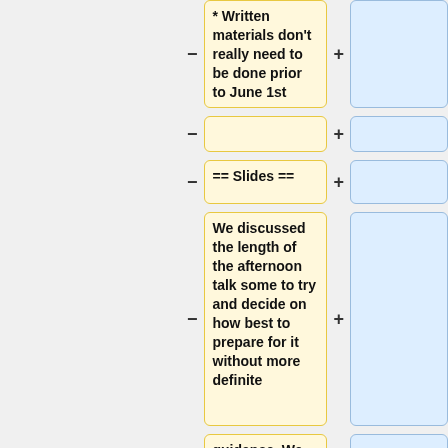* Written materials don't really need to be done prior to June 1st
== Slides ==
We discussed the length of the afternoon talk some to try and decide on how best to prepare for it without more definite
guidance. We agreed that the first step would be to generate the 45 minute talk as planned and then exercise one of a couple